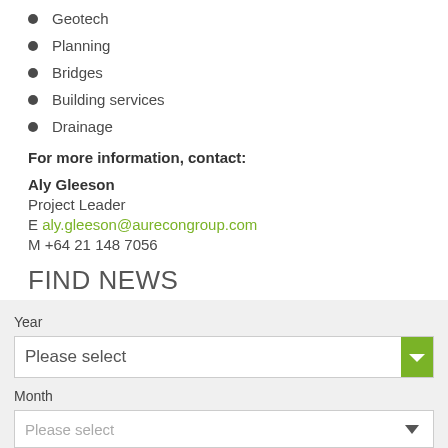Geotech
Planning
Bridges
Building services
Drainage
For more information, contact:
Aly Gleeson
Project Leader
E aly.gleeson@aurecongroup.com
M +64 21 148 7056
FIND NEWS
Year
Please select
Month
Please select